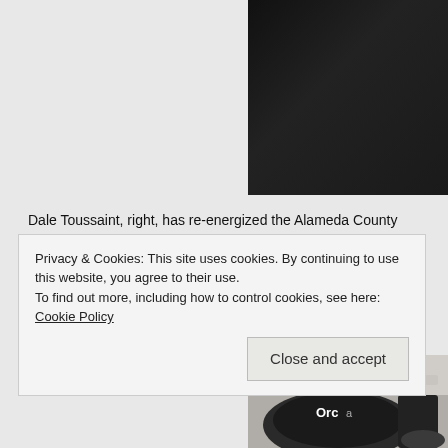[Figure (photo): Photo of person (partially visible) against dark background, top-right of page]
Dale Toussaint, right, has re-energized the Alameda County Sheriff's scanned into his laptop.
[Figure (photo): Photo showing a person wearing a helmet (Orca brand visible), bottom-right area]
Privacy & Cookies: This site uses cookies. By continuing to use this website, you agree to their use.
To find out more, including how to control cookies, see here: Cookie Policy
Close and accept